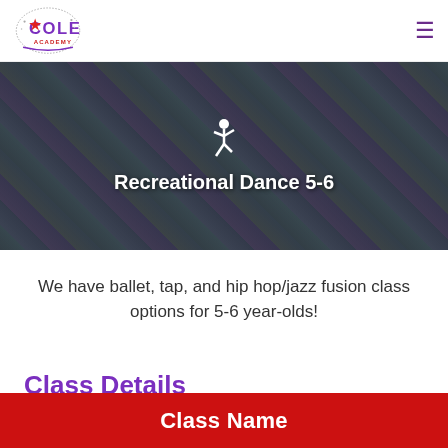Cole Academy
[Figure (photo): Group photo of young girls in teal and purple dance costumes with a white dancer icon silhouette overlay and title 'Recreational Dance 5-6']
Recreational Dance 5-6
We have ballet, tap, and hip hop/jazz fusion class options for 5-6 year-olds!
Class Details
| Class Name |
| --- |